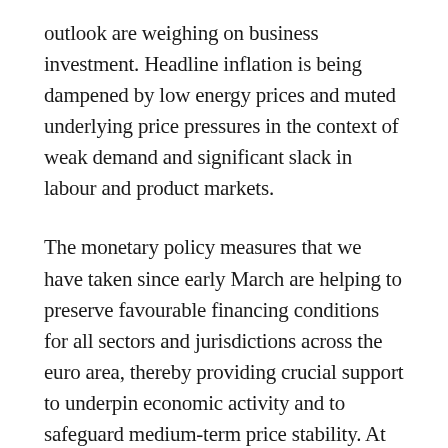outlook are weighing on business investment. Headline inflation is being dampened by low energy prices and muted underlying price pressures in the context of weak demand and significant slack in labour and product markets.
The monetary policy measures that we have taken since early March are helping to preserve favourable financing conditions for all sectors and jurisdictions across the euro area, thereby providing crucial support to underpin economic activity and to safeguard medium-term price stability. At the same time, in the current environment of risks clearly tilted to the downside, the Governing Council will carefully assess the incoming information, including the dynamics of the pandemic, prospects for a rollout of